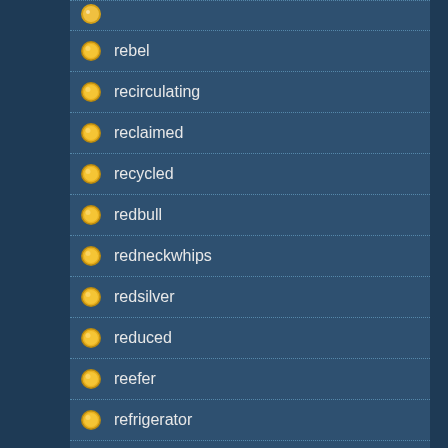rebel
recirculating
reclaimed
recycled
redbull
redneckwhips
redsilver
reduced
reefer
refrigerator
remove
renault
renegade
repair